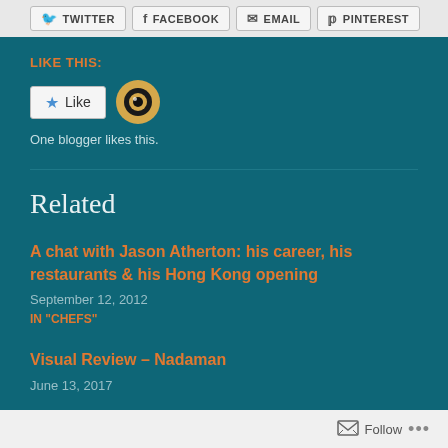[Figure (other): Social share buttons row: TWITTER, FACEBOOK, EMAIL, PINTEREST]
LIKE THIS:
[Figure (other): Like button with star icon and avatar circle icon. Text: One blogger likes this.]
Related
A chat with Jason Atherton: his career, his restaurants & his Hong Kong opening
September 12, 2012
IN "CHEFS"
Visual Review – Nadaman
June 13, 2017
Follow